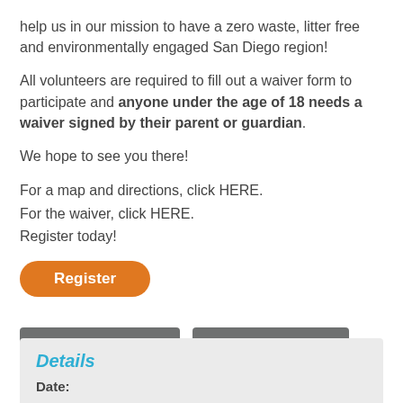help us in our mission to have a zero waste, litter free and environmentally engaged San Diego region!
All volunteers are required to fill out a waiver form to participate and anyone under the age of 18 needs a waiver signed by their parent or guardian.
We hope to see you there!
For a map and directions, click HERE.
For the waiver, click HERE.
Register today!
Register
+ GOOGLE CALENDAR
+ ADD TO ICALENDAR
Details
Date: